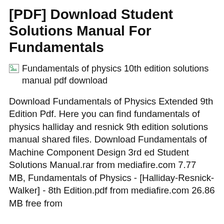[PDF] Download Student Solutions Manual For Fundamentals
[Figure (illustration): Broken image placeholder with alt text: Fundamentals of physics 10th edition solutions manual pdf download]
Download Fundamentals of Physics Extended 9th Edition Pdf. Here you can find fundamentals of physics halliday and resnick 9th edition solutions manual shared files. Download Fundamentals of Machine Component Design 3rd ed Student Solutions Manual.rar from mediafire.com 7.77 MB, Fundamentals of Physics - [Halliday-Resnick-Walker] - 8th Edition.pdf from mediafire.com 26.86 MB free from